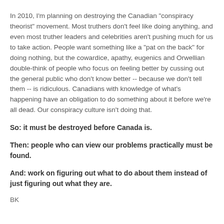In 2010, I'm planning on destroying the Canadian "conspiracy theorist" movement. Most truthers don't feel like doing anything, and even most truther leaders and celebrities aren't pushing much for us to take action. People want something like a "pat on the back" for doing nothing, but the cowardice, apathy, eugenics and Orwellian double-think of people who focus on feeling better by cussing out the general public who don't know better -- because we don't tell them -- is ridiculous. Canadians with knowledge of what's happening have an obligation to do something about it before we're all dead. Our conspiracy culture isn't doing that.
So: it must be destroyed before Canada is.
Then: people who can view our problems practically must be found.
And: work on figuring out what to do about them instead of just figuring out what they are.
BK